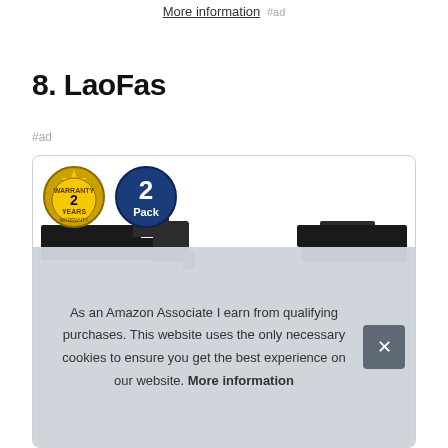More information #ad
8. LaoFas
#ad
[Figure (photo): Product listing card showing a LaoFas USB product with a 2 Years Warranty badge and a 2 Pack badge, along with USB drive images]
As an Amazon Associate I earn from qualifying purchases. This website uses the only necessary cookies to ensure you get the best experience on our website. More information